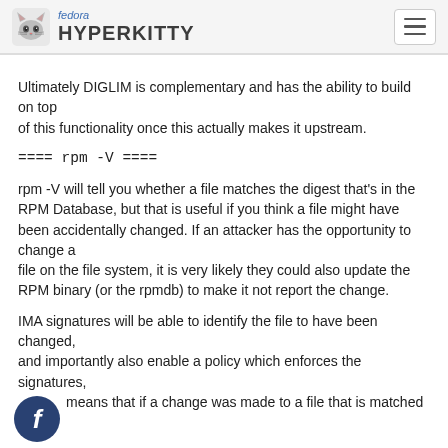fedora HYPERKITTY
Ultimately DIGLIM is complementary and has the ability to build on top
of this functionality once this actually makes it upstream.
==== rpm -V ====
rpm -V will tell you whether a file matches the digest that's in the RPM Database, but that is useful if you think a file might have been accidentally changed. If an attacker has the opportunity to change a
file on the file system, it is very likely they could also update the RPM binary (or the rpmdb) to make it not report the change.
IMA signatures will be able to identify the file to have been changed,
and importantly also enable a policy which enforces the signatures,
which means that if a change was made to a file that is matched by a
policy, the kernel would actively refuse loading it, instead of